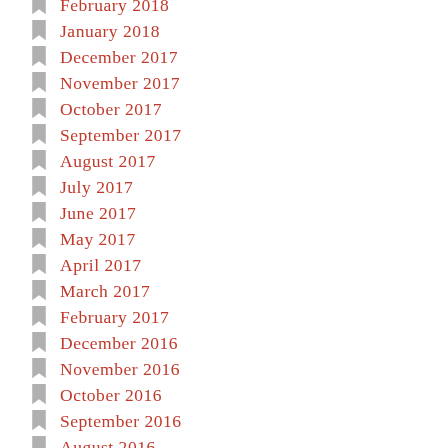February 2018
January 2018
December 2017
November 2017
October 2017
September 2017
August 2017
July 2017
June 2017
May 2017
April 2017
March 2017
February 2017
December 2016
November 2016
October 2016
September 2016
August 2016
July 2016